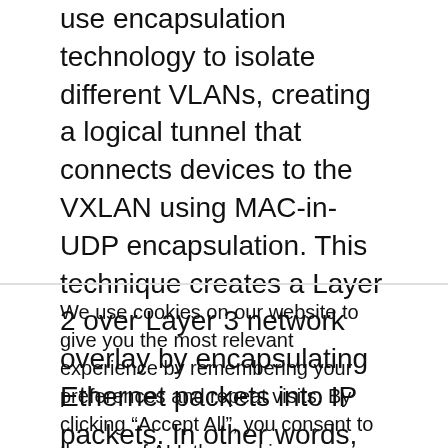use encapsulation technology to isolate different VLANs, creating a logical tunnel that connects devices to the VXLAN using MAC-in-UDP encapsulation. This technique creates a Layer 2 over Layer 3 network overlay by encapsulating Ethernet packets into IP packets. In other words, each Layer 2 packet receives a VXLAN header, which is then encapsulated in a UDP IP packet that is sent to the Layer 3 network.
We use cookies on our website to give you the most relevant experience by remembering your preferences and repeat visits. By clicking “Accept All”, you consent to the use of ALL the cookies. However, you may visit "Cookie Settings" to provide a controlled consent.